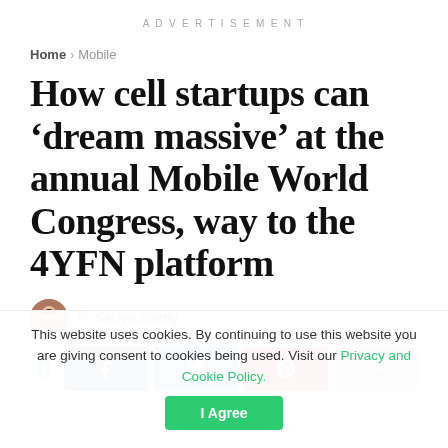ADVERTISEMENT
Home > Mobile
How cell startups can ‘dream massive’ at the annual Mobile World Congress, way to the 4YFN platform
by Serlyn Shetty — 8 months ago
0 [share buttons: Facebook, Twitter, Pinterest, Forward]
This website uses cookies. By continuing to use this website you are giving consent to cookies being used. Visit our Privacy and Cookie Policy. I Agree